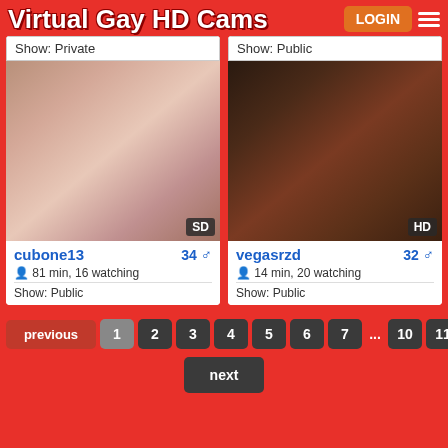Virtual Gay HD Cams
Show: Private
[Figure (photo): Webcam thumbnail of user cubone13, SD quality badge]
cubone13  34 male
81 min, 16 watching
Show: Public
Show: Public
[Figure (photo): Webcam thumbnail of user vegasrzd, HD quality badge]
vegasrzd  32 male
14 min, 20 watching
Show: Public
previous
1
2
3
4
5
6
7
...
10
11
next